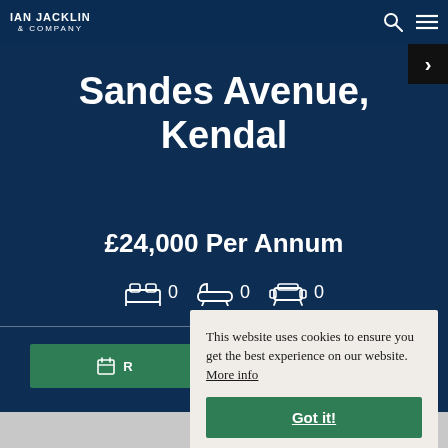IAN JACKLIN & COMPANY
Sandes Avenue, Kendal
£24,000 Per Annum
[Figure (infographic): Property amenity icons: bed icon with '0', bath icon with '0', sofa icon with '0']
This website uses cookies to ensure you get the best experience on our website. More info
Got it!